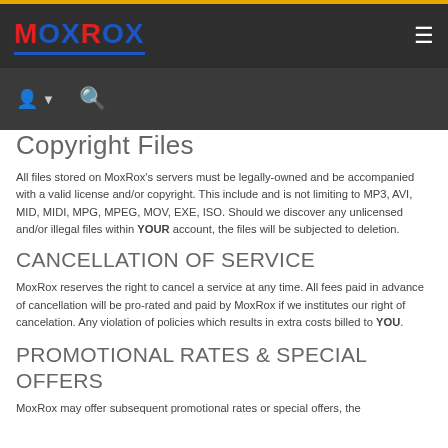MOXROX
Copyright Files
All files stored on MoxRox's servers must be legally-owned and be accompanied with a valid license and/or copyright. This include and is not limiting to MP3, AVI, MID, MIDI, MPG, MPEG, MOV, EXE, ISO. Should we discover any unlicensed and/or illegal files within YOUR account, the files will be subjected to deletion.
CANCELLATION OF SERVICE
MoxRox reserves the right to cancel a service at any time. All fees paid in advance of cancellation will be pro-rated and paid by MoxRox if we institutes our right of cancelation. Any violation of policies which results in extra costs billed to YOU.
PROMOTIONAL RATES & SPECIAL OFFERS
MoxRox may offer subsequent promotional rates or special offers, the